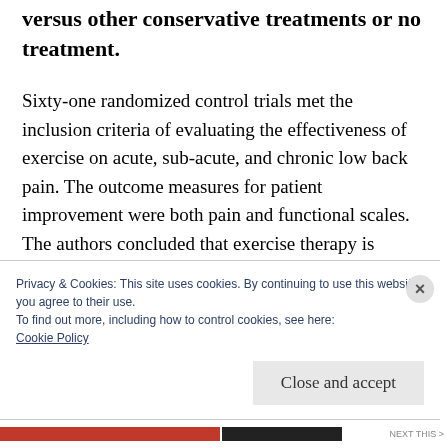versus other conservative treatments or no treatment.
Sixty-one randomized control trials met the inclusion criteria of evaluating the effectiveness of exercise on acute, sub-acute, and chronic low back pain. The outcome measures for patient improvement were both pain and functional scales. The authors concluded that exercise therapy is effective for decreasing pain and improving patient
Privacy & Cookies: This site uses cookies. By continuing to use this website, you agree to their use.
To find out more, including how to control cookies, see here:
Cookie Policy
Close and accept